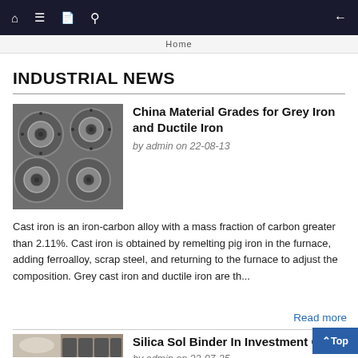Home
INDUSTRIAL NEWS
[Figure (photo): Coiled wire or pipe spools viewed from above, metallic grey]
China Material Grades for Grey Iron and Ductile Iron
by admin on 22-08-13
Cast iron is an iron-carbon alloy with a mass fraction of carbon greater than 2.11%. Cast iron is obtained by remelting pig iron in the furnace, adding ferroalloy, scrap steel, and returning to the furnace to adjust the composition. Grey cast iron and ductile iron are th...
Read more
[Figure (photo): Investment casting process with silica sol coating, white powder material and metal castings]
Silica Sol Binder In Investment Casting
by admin on 22-07-25
The choice of silica sol coating will directly